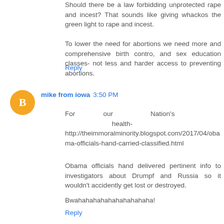Should there be a law forbidding unprotected rape and incest? That sounds like giving whackos the green light to rape and incest.
To lower the need for abortions we need more and comprehensive birth contro, and sex education classes- not less and harder access to preventing abortions.
Reply
mike from iowa  3:50 PM
For our Nation's health- http://theimmoralminority.blogspot.com/2017/04/obama-officials-hand-carried-classified.html
Obama officials hand delivered pertinent info to investigators about Drumpf and Russia so it wouldn't accidently get lost or destroyed.
Bwahahahahahahahahahaha!
Reply